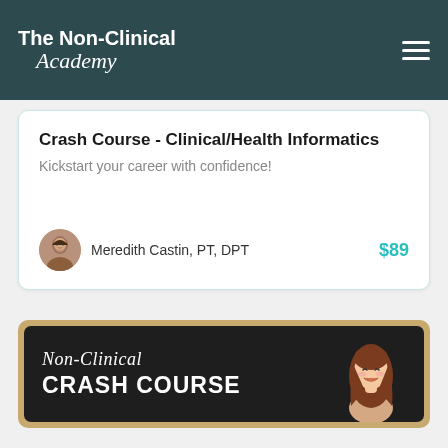The Non-Clinical Academy
Crash Course - Clinical/Health Informatics
Kickstart your career with confidence!
Meredith Castin, PT, DPT
$89
[Figure (illustration): Non-Clinical Crash Course promotional banner with dark chalkboard background, tan/wooden border, text 'Non-Clinical CRASH COURSE' and cartoon illustration of a smiling woman with long brown hair]